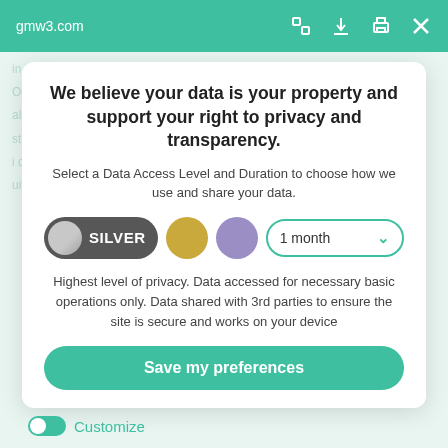gmw3.com
We believe your data is your property and support your right to privacy and transparency.
Select a Data Access Level and Duration to choose how we use and share your data.
[Figure (infographic): Privacy level selector with Silver pill toggle, gold circle, purple circle, and 1 month dropdown]
Highest level of privacy. Data accessed for necessary basic operations only. Data shared with 3rd parties to ensure the site is secure and works on your device
Save my preferences
Customize